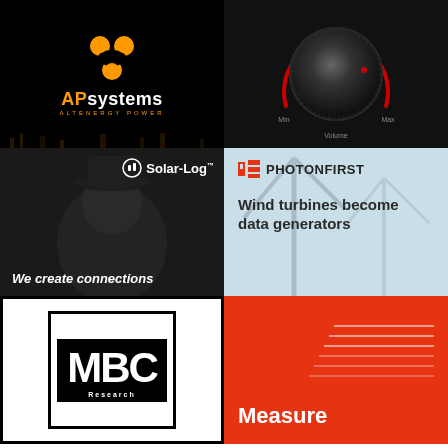[Figure (logo): APsystems ALTENERGY POWER logo — orange figure-eight icon on black background with city lights]
[Figure (photo): Black volume knob dial with red arc indicator, labeled Min, Max, Volume]
[Figure (logo): Solar-Log logo on dark background with mysterious figure, tagline: We create connections]
[Figure (logo): PhotonFirst logo on light blue background with wind turbines, text: Wind turbines become data generators]
[Figure (logo): MBC logo — white letters on black block with border]
[Figure (logo): Red background with white text: Measure and horizontal lines graphic]